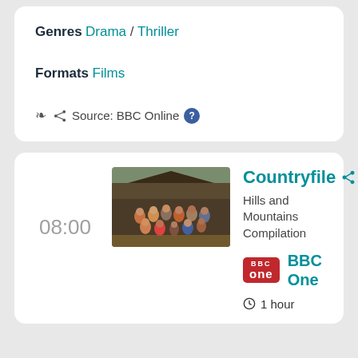Genres
Drama / Thriller
Formats
Films
Source: BBC Online
08:00
[Figure (photo): Group photo of Countryfile TV show cast members standing and sitting outside a rustic barn setting]
Countryfile
Hills and Mountains Compilation
[Figure (logo): BBC One red logo]
BBC One
1 hour